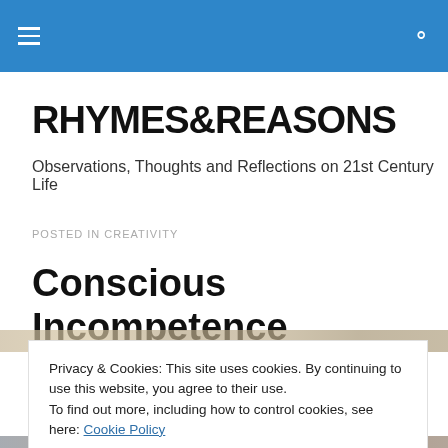RHYMES&REASONS
RHYMES&REASONS
Observations, Thoughts and Reflections on 21st Century Life
POSTED IN CREATIVITY
Conscious Incompetence
Privacy & Cookies: This site uses cookies. By continuing to use this website, you agree to their use.
To find out more, including how to control cookies, see here: Cookie Policy